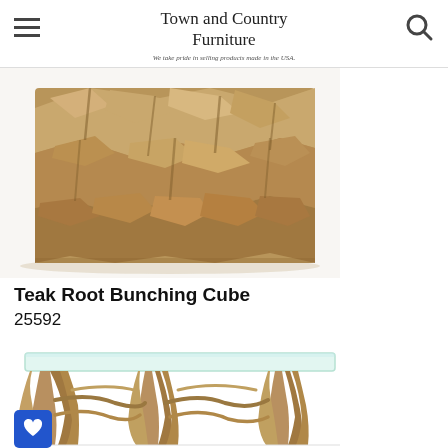Town and Country Furniture
We take pride in selling products made in the USA.
[Figure (photo): Close-up photo of a Teak Root Bunching Cube — rough stacked teak root pieces forming a cube-shaped furniture piece, brown/tan natural wood tones]
Teak Root Bunching Cube
25592
[Figure (photo): Photo of a console table made from tangled driftwood/teak root base with a clear glass top, natural wood tones on white background]